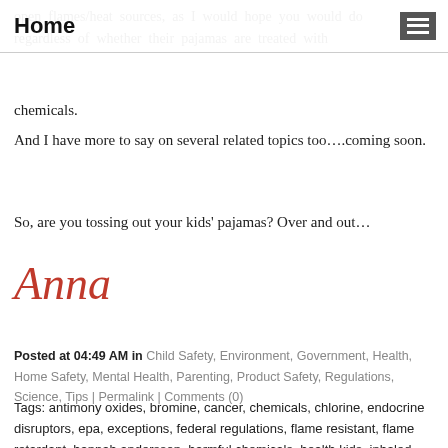Home
open flames/heat sources, as I would hope you would do regardless of whether their pajamas are treated with chemicals.
And I have more to say on several related topics too….coming soon.
So, are you tossing out your kids' pajamas? Over and out…
Anna
Posted at 04:49 AM in Child Safety, Environment, Government, Health, Home Safety, Mental Health, Parenting, Product Safety, Regulations, Science, Tips | Permalink | Comments (0)
Tags: antimony oxides, bromine, cancer, chemicals, chlorine, endocrine disruptors, epa, exceptions, federal regulations, flame resistant, flame retardant, hannah andersson, harmful chemicals, health kids, inhaled, irritant, kids jammies, kids' pajamas, labels, leaching chemicals, not flame resistant, offgas, open flames, pajamas, pbde, pcbs, pjs, proban, regulations, safety, Securest, sleepwear, toxic chemcals TRIS, u.s. consumer products and safety commission